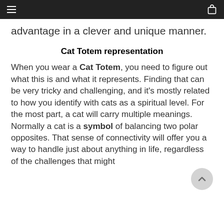≡  [navigation bar]  [bag icon]
advantage in a clever and unique manner.
Cat Totem representation
When you wear a Cat Totem, you need to figure out what this is and what it represents. Finding that can be very tricky and challenging, and it's mostly related to how you identify with cats as a spiritual level. For the most part, a cat will carry multiple meanings. Normally a cat is a symbol of balancing two polar opposites. That sense of connectivity will offer you a way to handle just about anything in life, regardless of the challenges that might